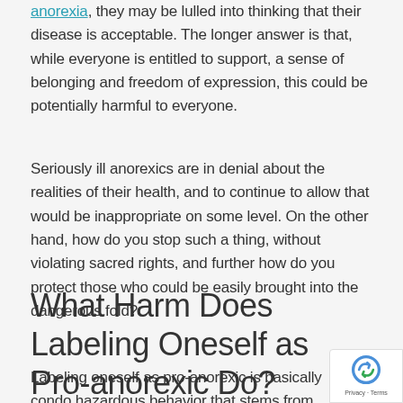anorexia, they may be lulled into thinking that their disease is acceptable. The longer answer is that, while everyone is entitled to support, a sense of belonging and freedom of expression, this could be potentially harmful to everyone.
Seriously ill anorexics are in denial about the realities of their health, and to continue to allow that would be inappropriate on some level. On the other hand, how do you stop such a thing, without violating sacred rights, and further how do you protect those who could be easily brought into the dangerous fold?
What Harm Does Labeling Oneself as Pro-anorexic Do?
Labeling oneself as pro-anorexic is basically condo hazardous behavior that stems from a much darke as a lifestyle choice. If someone wants to and chooses to